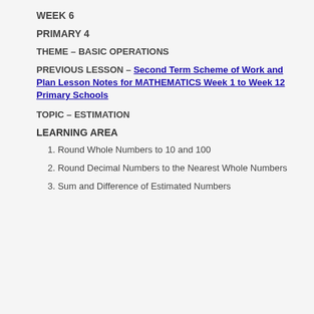WEEK 6
PRIMARY 4
THEME – BASIC OPERATIONS
PREVIOUS LESSON – Second Term Scheme of Work and Plan Lesson Notes for MATHEMATICS Week 1 to Week 12 Primary Schools
TOPIC – ESTIMATION
LEARNING AREA
1. Round Whole Numbers to 10 and 100
2. Round Decimal Numbers to the Nearest Whole Numbers
3. Sum and Difference of Estimated Numbers